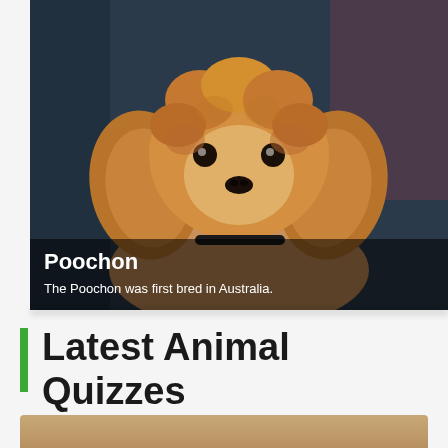[Figure (photo): Close-up photo of a Poochon dog with curly brown/apricot fur, looking at the camera. The dog has a fluffy rounded face with dark eyes and a black nose. Background is blurred blue/dark tones. An overlay at the bottom shows the dog breed name and a fact.]
Poochon
The Poochon was first bred in Australia.
Latest Animal Quizzes